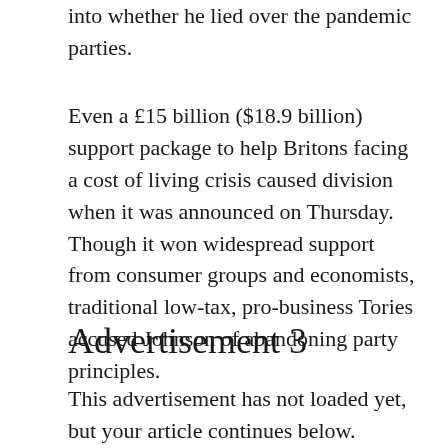into whether he lied over the pandemic parties.
Even a £15 billion ($18.9 billion) support package to help Britons facing a cost of living crisis caused division when it was announced on Thursday. Though it won widespread support from consumer groups and economists, traditional low-tax, pro-business Tories accused Johnson of abandoning party principles.
Advertisement 3
This advertisement has not loaded yet, but your article continues below.